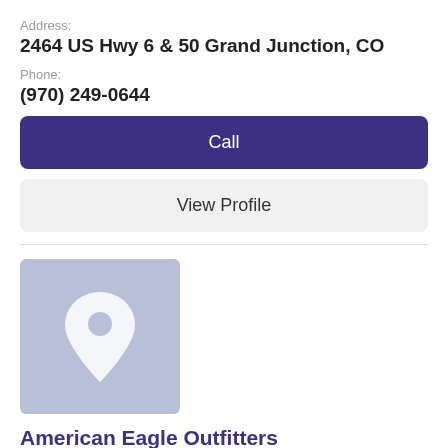Address:
2464 US Hwy 6 & 50 Grand Junction, CO
Phone:
(970) 249-0644
Call
View Profile
[Figure (illustration): Map location pin icon on a light blue-grey square background]
American Eagle Outfitters
Clothing & Accessories
At American Eagle Outfitters, we make jeans for every body. We stand for individuality, freedom, and difference. And we believe in the ones who reveal their true selves to the world. Visit us at MESA MALL to shop the latest collection, featuring new Ne(x)t Level jeans, designed…